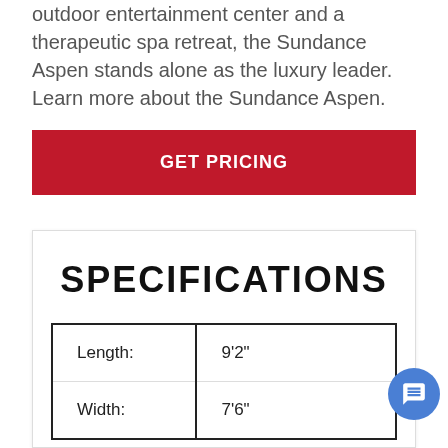outdoor entertainment center and a therapeutic spa retreat, the Sundance Aspen stands alone as the luxury leader. Learn more about the Sundance Aspen.
GET PRICING
SPECIFICATIONS
|  |  |
| --- | --- |
| Length: | 9'2" |
| Width: | 7'6" |